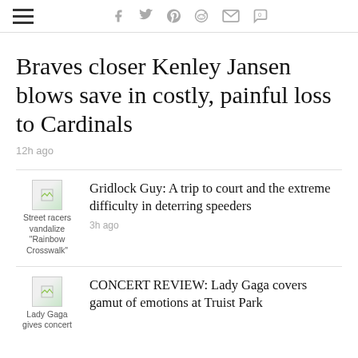Navigation and social share icons bar
Braves closer Kenley Jansen blows save in costly, painful loss to Cardinals
12h ago
[Figure (photo): Thumbnail image: Street racers vandalize "Rainbow Crosswalk"]
Gridlock Guy: A trip to court and the extreme difficulty in deterring speeders
3h ago
[Figure (photo): Thumbnail image: Lady Gaga gives concert]
CONCERT REVIEW: Lady Gaga covers gamut of emotions at Truist Park